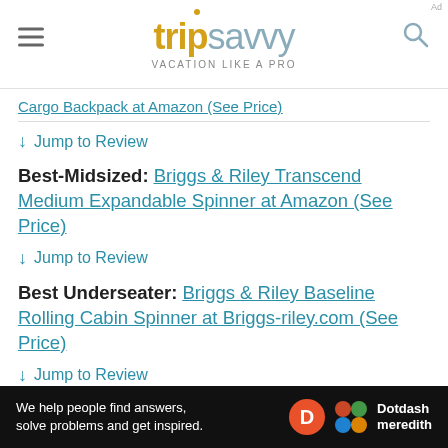tripsavvy VACATION LIKE A PRO
Cargo Backpack at Amazon (See Price)
↓ Jump to Review
Best-Midsized: Briggs & Riley Transcend Medium Expandable Spinner at Amazon (See Price)
↓ Jump to Review
Best Underseater: Briggs & Riley Baseline Rolling Cabin Spinner at Briggs-riley.com (See Price)
↓ Jump to Review
Best for Durability: Briggs & Riley Simpatico Large Spinner at Amazon (See Price)
[Figure (other): Dotdash Meredith advertisement banner: 'We help people find answers, solve problems and get inspired.']